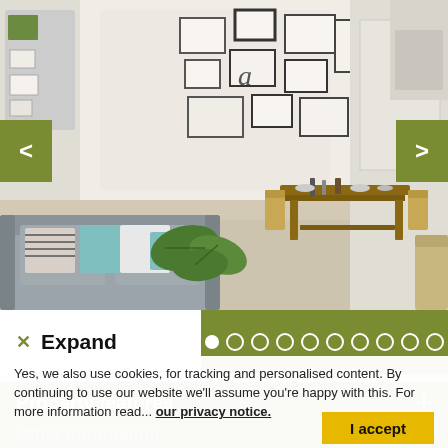[Figure (photo): Interior photo of a living and dining room: grey sofa with teal and striped cushions, wooden dining table with chairs, white walls with framed art gallery, kitchen visible in background, and a large tropical leaf plant in the foreground.]
< (left navigation arrow)
> (right navigation arrow)
✕ Expand
● ○ ○ ○ ○ ○ ○ ○ ○ ○ (image carousel dots, first active)
Property features +
Yes, we also use cookies, for tracking and personalised content. By continuing to use our website we'll assume you're happy with this. For more information read... our privacy notice.
Other information +
I accept